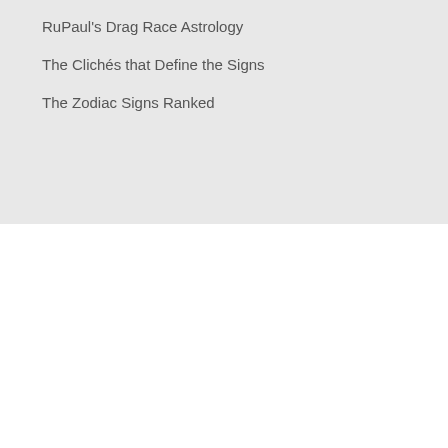RuPaul's Drag Race Astrology
The Clichés that Define the Signs
The Zodiac Signs Ranked
Search...
Recent Posts